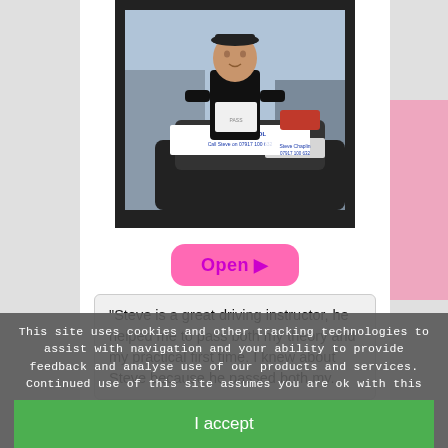[Figure (photo): A young man holding a pass certificate in front of a driving school car. A sign reads 'DRIVING SCHOOL Call Steve on 07917 100 632'. The photo is framed with a thick black border.]
Open ▶
"Steve is a great driving instructor, he helped me to pass both my theory and my practical first time. I knew about Steve because he passed both my..."
This site uses cookies and other tracking technologies to assist with navigation and your ability to provide feedback and analyse use of our products and services. Continued use of this site assumes you are ok with this
I accept